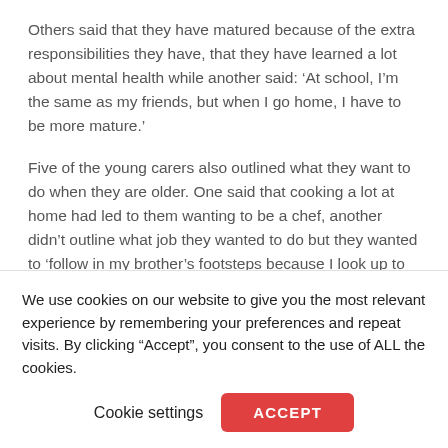Others said that they have matured because of the extra responsibilities they have, that they have learned a lot about mental health while another said: ‘At school, I’m the same as my friends, but when I go home, I have to be more mature.’
Five of the young carers also outlined what they want to do when they are older. One said that cooking a lot at home had led to them wanting to be a chef, another didn’t outline what job they wanted to do but they wanted to ‘follow in my brother’s footsteps because I look up to him’. One said they want to be a scientist so they can make the world a better place, one said they wanted to be an engineer in the
We use cookies on our website to give you the most relevant experience by remembering your preferences and repeat visits. By clicking “Accept”, you consent to the use of ALL the cookies.
Cookie settings
ACCEPT